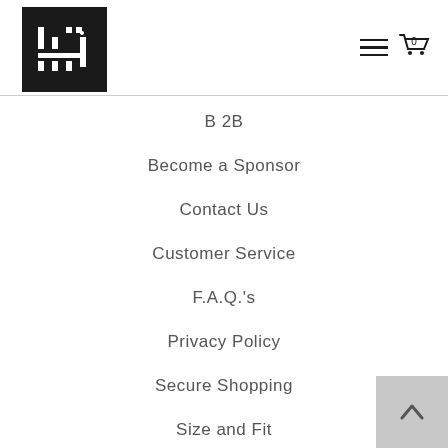[Figure (logo): ZLC brand logo — white Arabic calligraphy on black square background]
B 2B
Become a Sponsor
Contact Us
Customer Service
F.A.Q.'s
Privacy Policy
Secure Shopping
Size and Fit
Track your order
ZLC TEAM